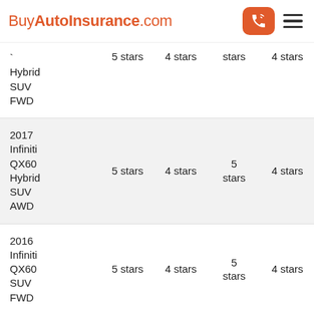BuyAutoInsurance.com
| Vehicle | Col1 | Col2 | Col3 | Col4 |
| --- | --- | --- | --- | --- |
| Hybrid SUV FWD | 5 stars | 4 stars | stars | 4 stars |
| 2017 Infiniti QX60 Hybrid SUV AWD | 5 stars | 4 stars | 5 stars | 4 stars |
| 2016 Infiniti QX60 SUV FWD | 5 stars | 4 stars | 5 stars | 4 stars |